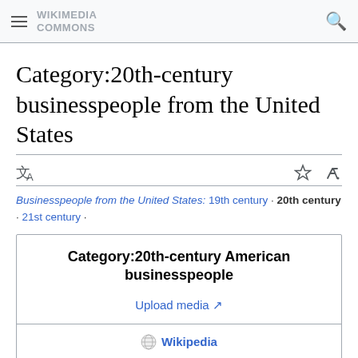WIKIMEDIA COMMONS
Category:20th-century businesspeople from the United States
Businesspeople from the United States: 19th century · 20th century · 21st century ·
Category:20th-century American businesspeople
Upload media
Wikipedia